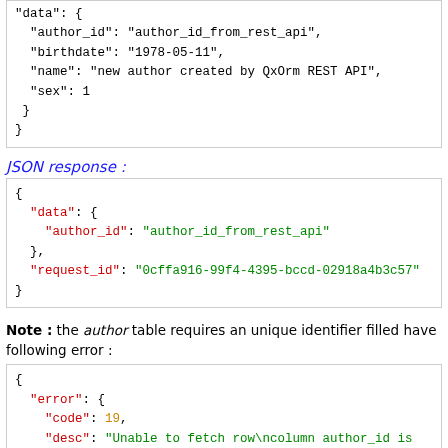"data": {
  "author_id": "author_id_from_rest_api",
  "birthdate": "1978-05-11",
  "name": "new author created by QxOrm REST API",
  "sex": 1
}
}
JSON response :
{
  "data": {
    "author_id": "author_id_from_rest_api"
  },
  "request_id": "0cffa916-99f4-4395-bccd-02918a4b3c57"
}
Note : the author table requires an unique identifier filled have following error :
{
  "error": {
    "code": 19,
    "desc": "Unable to fetch row\ncolumn author_id is not u..."
  },
  "request_id": "0cffa916-99f4-4395-bccd-02918a4b3c57"